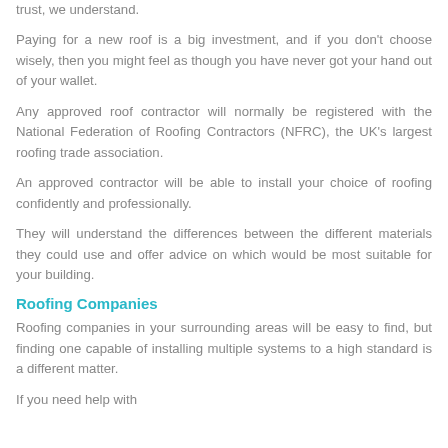trust, we understand.
Paying for a new roof is a big investment, and if you don't choose wisely, then you might feel as though you have never got your hand out of your wallet.
Any approved roof contractor will normally be registered with the National Federation of Roofing Contractors (NFRC), the UK's largest roofing trade association.
An approved contractor will be able to install your choice of roofing confidently and professionally.
They will understand the differences between the different materials they could use and offer advice on which would be most suitable for your building.
Roofing Companies
Roofing companies in your surrounding areas will be easy to find, but finding one capable of installing multiple systems to a high standard is a different matter.
If you need help with